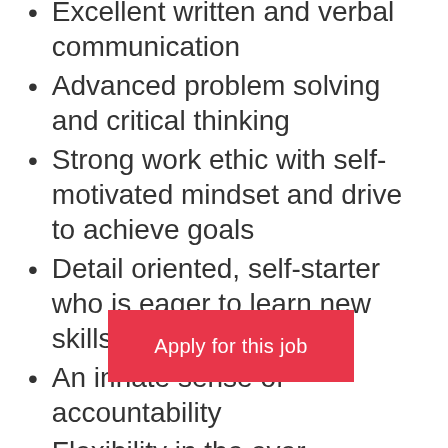Excellent written and verbal communication
Advanced problem solving and critical thinking
Strong work ethic with self-motivated mindset and drive to achieve goals
Detail oriented, self-starter who is eager to learn new skills and concepts
An innate sense of accountability
Flexibility in the ever-changing market research landscape
Positive attitude with team-player mentality